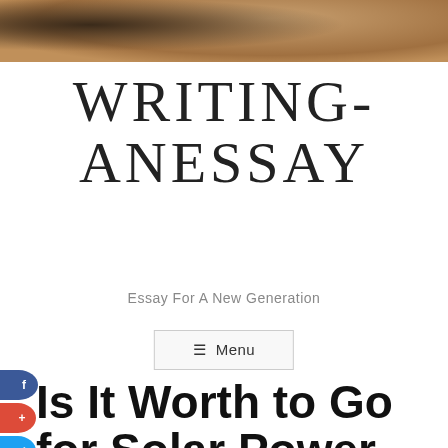[Figure (photo): Partial photo strip at top of page showing a person, cropped to a narrow horizontal band]
WRITING-ANESSAY
Essay For A New Generation
≡ Menu
Is It Worth to Go for Solar Power